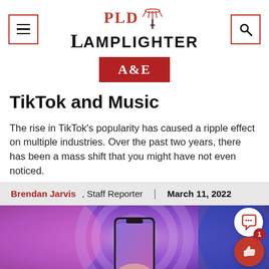PLD LAMPLIGHTER
A&E
TikTok and Music
The rise in TikTok’s popularity has caused a ripple effect on multiple industries. Over the past two years, there has been a mass shift that you might have not even noticed.
Brendan Jarvis, Staff Reporter | March 11, 2022
[Figure (photo): A hand holding a smartphone against a colorful pink and purple gradient background with circular light effects]